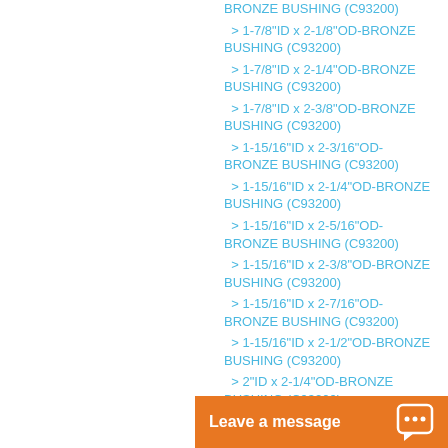BRONZE BUSHING (C93200)
> 1-7/8"ID x 2-1/8"OD-BRONZE BUSHING (C93200)
> 1-7/8"ID x 2-1/4"OD-BRONZE BUSHING (C93200)
> 1-7/8"ID x 2-3/8"OD-BRONZE BUSHING (C93200)
> 1-15/16"ID x 2-3/16"OD-BRONZE BUSHING (C93200)
> 1-15/16"ID x 2-1/4"OD-BRONZE BUSHING (C93200)
> 1-15/16"ID x 2-5/16"OD-BRONZE BUSHING (C93200)
> 1-15/16"ID x 2-3/8"OD-BRONZE BUSHING (C93200)
> 1-15/16"ID x 2-7/16"OD-BRONZE BUSHING (C93200)
> 1-15/16"ID x 2-1/2"OD-BRONZE BUSHING (C93200)
> 2"ID x 2-1/4"OD-BRONZE BUSHING (C93200)